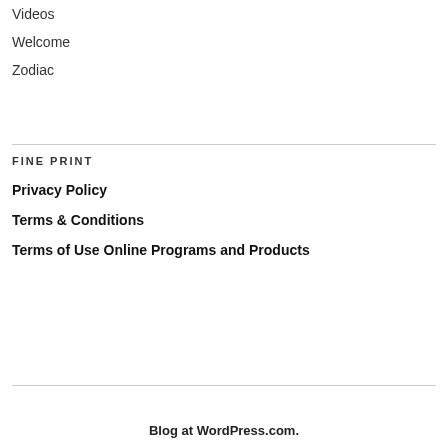Videos
Welcome
Zodiac
FINE PRINT
Privacy Policy
Terms & Conditions
Terms of Use Online Programs and Products
Blog at WordPress.com.